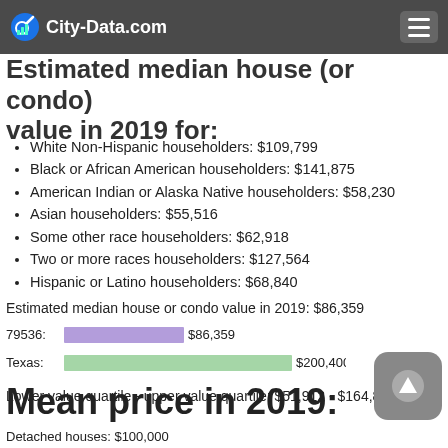City-Data.com
Estimated median house (or condo) value in 2019 for:
White Non-Hispanic householders: $109,799
Black or African American householders: $141,875
American Indian or Alaska Native householders: $58,230
Asian householders: $55,516
Some other race householders: $62,918
Two or more races householders: $127,564
Hispanic or Latino householders: $68,840
Estimated median house or condo value in 2019: $86,359
[Figure (bar-chart): Median house value comparison]
Lower value quartile - upper value quartile: $51,912 - $164,825
Mean price in 2019:
Detached houses: $100,000